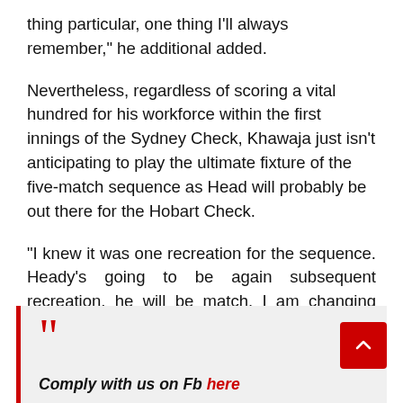thing particular, one thing I'll always remember," he additional added.
Nevertheless, regardless of scoring a vital hundred for his workforce within the first innings of the Sydney Check, Khawaja just isn't anticipating to play the ultimate fixture of the five-match sequence as Head will probably be out there for the Hobart Check.
“I knew it was one recreation for the sequence. Heady’s going to be again subsequent recreation, he will be match. I am changing him,” Khawaja mentioned.
““ Comply with us on Fb here